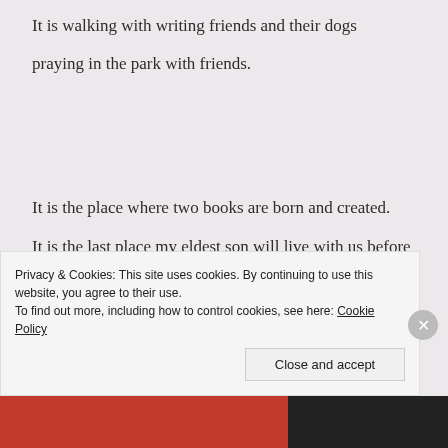It is walking with writing friends and their dogs
praying in the park with friends.
It is the place where two books are born and created.
It is the last place my eldest son will live with us before heading off into the world.
It is a place where we discuss world unity and what will
Privacy & Cookies: This site uses cookies. By continuing to use this website, you agree to their use.
To find out more, including how to control cookies, see here: Cookie Policy
Close and accept